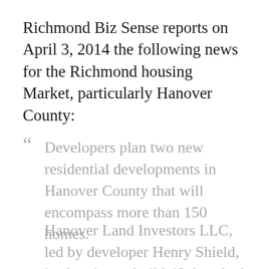Richmond Biz Sense reports on April 3, 2014 the following news for the Richmond housing Market, particularly Hanover County:
“ Developers plan two new residential developments in Hanover County that will encompass more than 150 homes.
Hanover Land Investors LLC, led by developer Henry Shield, is planning to build 48 detached.